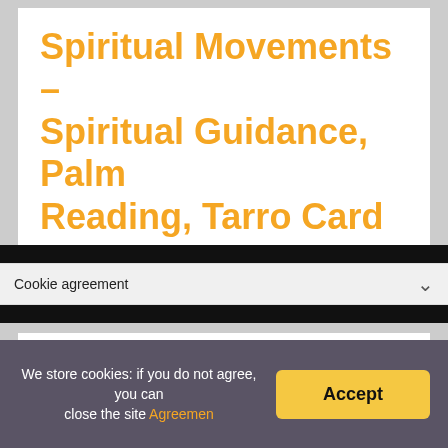Spiritual Movements – Spiritual Guidance, Palm Reading, Tarro Card
Cookie agreement
Often asked: Meaning Of Two Numbers When You Hit
We store cookies: if you do not agree, you can close the site Agreemen